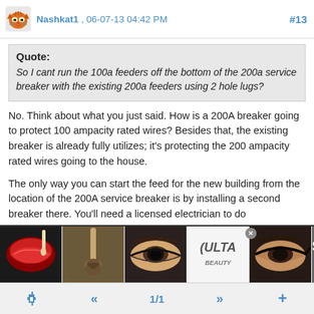Nashkat1 , 06-07-13 04:42 PM  #13
Quote:
So I cant run the 100a feeders off the bottom of the 200a service breaker with the existing 200a feeders using 2 hole lugs?
No. Think about what you just said. How is a 200A breaker going to protect 100 ampacity rated wires? Besides that, the existing breaker is already fully utilizes; it's protecting the 200 ampacity rated wires going to the house.
The only way you can start the feed for the new building from the location of the 200A service breaker is by installing a second breaker there. You'll need a licensed electrician to do
[Figure (screenshot): ULTA beauty advertisement banner with makeup images (lips, brush, eye makeup) and SHOP NOW call to action]
🔒  «  1/1  »  +